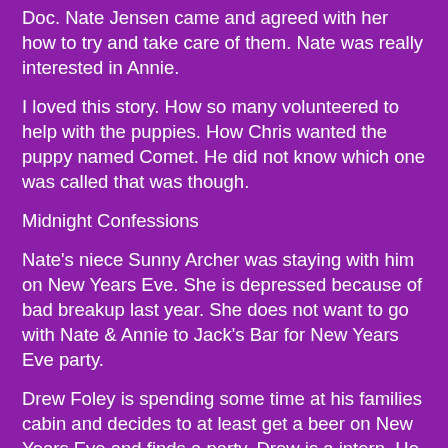Doc. Nate Jensen came and agreed with her how to try and take care of them. Nate was really interested in Annie.
I loved this story. How so many volunteered to help with the puppies. How Chris wanted the puppy named Comet. He did not know which one was called that was though.
Midnight Confessions
Nate's niece Sunny Archer was staying with him on New Years Eve. She is depressed because of bad breakup last year. She does not want to go with Nate & Annie to Jack's Bar for New Years Eve party.
Drew Foley is spending some time at his families cabin and decides to at least get a beer on New Years Eve and finds a party. Drew is a intern. He sees Annie and tries to talk to her.
I really like Drew and his warm tender heart. He knows what to say to help Annie.
Backward Glance